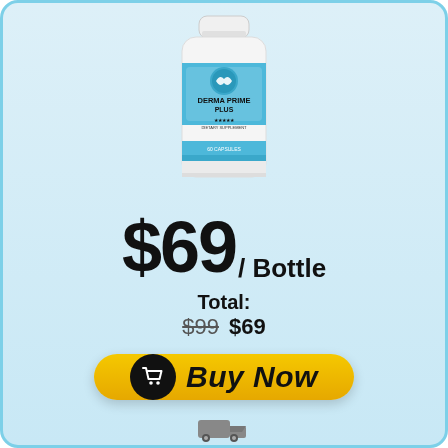[Figure (photo): White supplement/capsule bottle labeled 'DERMA PRIME PLUS' with a blue stripe and logo, on a light blue gradient background]
$69 / Bottle
Total: $99 $69
[Figure (other): Yellow 'Buy Now' button with shopping cart icon on left]